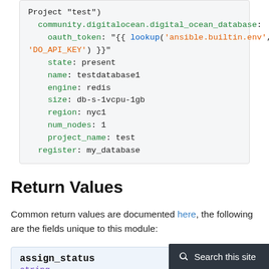[Figure (screenshot): Code block showing YAML/Ansible task configuration with syntax highlighting: community.digitalocean.digital_ocean_database module with oauth_token using lookup, state: present, name: testdatabase1, engine: redis, size: db-s-1vcpu-1gb, region: nyc1, num_nodes: 1, project_name: test, register: my_database]
Return Values
Common return values are documented here, the following are the fields unique to this module:
| Field | Type |
| --- | --- |
| assign_status | string |
Assignment status (ok, not_found, assigned,